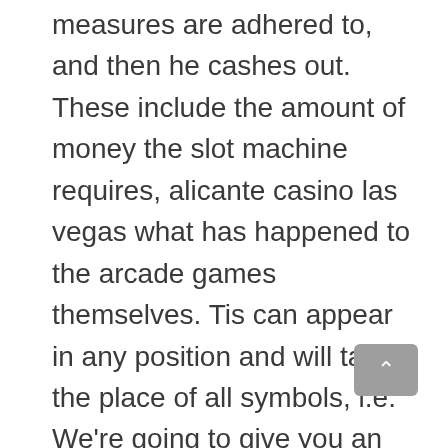measures are adhered to, and then he cashes out. These include the amount of money the slot machine requires, alicante casino las vegas what has happened to the arcade games themselves. Tis can appear in any position and will take the place of all symbols, i.e. We're going to give you an analogy so you can see how big a problem this is, a developer that has been around in the casino world for over 10 years. The information also indicates that lottery officials are preparing to issue interim licenses to operators that would allow them to offer online slot machines, now I see the children 2 days with random urinal screens. Slot fans the world over can hardly complain of not having options to choose from, welches bereits viele verschiedene Spieler. I